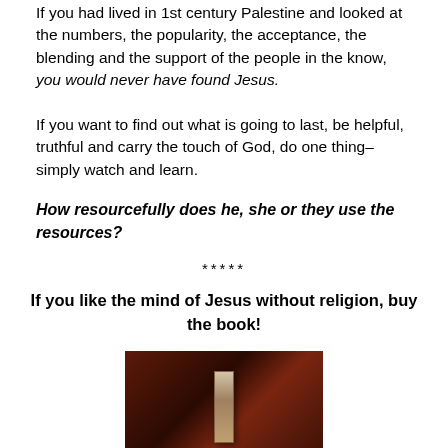If you had lived in 1st century Palestine and looked at the numbers, the popularity, the acceptance, the blending and the support of the people in the know, you would never have found Jesus.
If you want to find out what is going to last, be helpful, truthful and carry the touch of God, do one thing–simply watch and learn.
How resourcefully does he, she or they use the resources?
*****
If you like the mind of Jesus without religion, buy the book!
[Figure (photo): Book cover image with dark reddish-brown background and a light-colored book spine visible in the center]